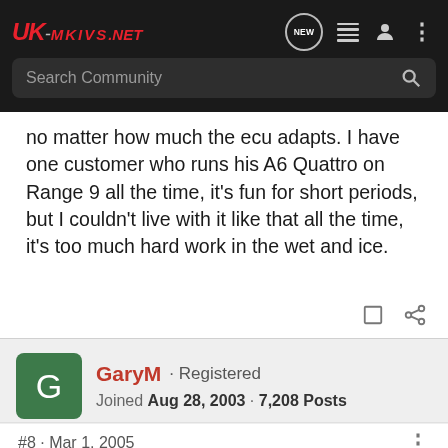UK-MKIVS.NET — Search Community
no matter how much the ecu adapts. I have one customer who runs his A6 Quattro on Range 9 all the time, it's fun for short periods, but I couldn't live with it like that all the time, it's too much hard work in the wet and ice.
GaryM · Registered
Joined Aug 28, 2003 · 7,208 Posts
#8 · Mar 1, 2005
Im currently running HB3, T7 on the older SPS3 with LB and HB options.